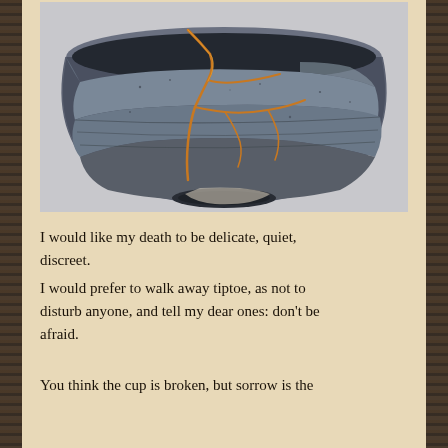[Figure (photo): A dark grey-blue ceramic bowl with gold kintsugi repair lines running across its surface, photographed on a light grey background.]
I would like my death to be delicate, quiet, discreet.
I would prefer to walk away tiptoe, as not to disturb anyone, and tell my dear ones: don't be afraid.

You think the cup is broken, but sorrow is the